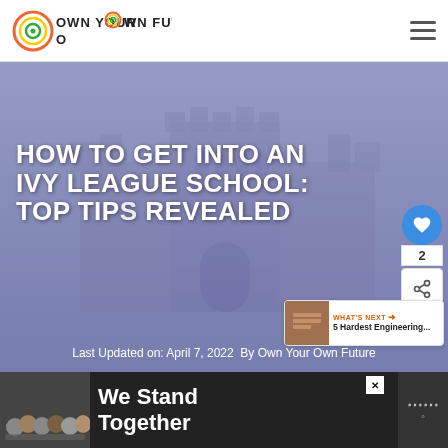Own Your Own Future
[Figure (photo): Gothic stone university building with arched windows, overlaid with a blue-purple tint hero image]
HOW TO GET INTO AN IVY LEAGUE SCHOOL: TOP TIPS REVEALED
Last Updated on: April 7, 2022  By Own Your Own Future
[Figure (infographic): What's Next panel showing '5 Hardest Engineering...' with thumbnail]
[Figure (photo): Advertisement banner: We Stand Together, with group of students]